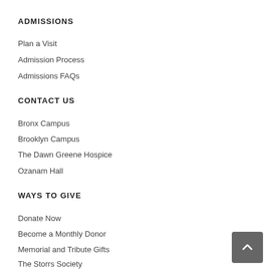ADMISSIONS
Plan a Visit
Admission Process
Admissions FAQs
CONTACT US
Bronx Campus
Brooklyn Campus
The Dawn Greene Hospice
Ozanam Hall
WAYS TO GIVE
Donate Now
Become a Monthly Donor
Memorial and Tribute Gifts
The Storrs Society
Bequests and Planned Gifts